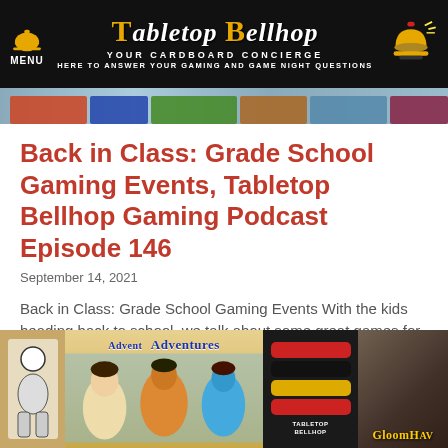MENU | Tabletop Bellhop - Your Cardboard Concierge - Here to Answer Your Gaming and Game Night Questions
[Figure (photo): Top banner photo strip showing board game boxes]
Back in Class: Grade School Gaming Events, Tabletop Bellhop Gaming Podcast Episode 146
September 14, 2021
Back in Class: Grade School Gaming Events With the kids heading back to school, we talk about some great games for a one-hour grade school
[Figure (photo): Photo showing board game boxes including Adventures and Gloomhaven, with stacked Tabletop Bellhop rings]